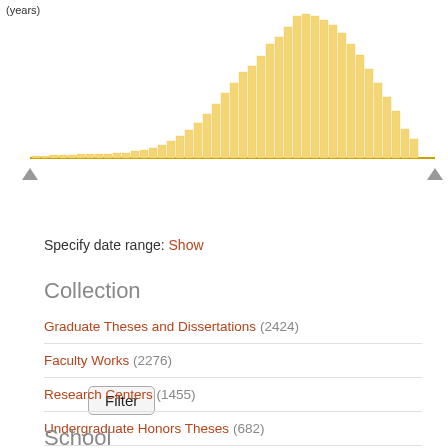[Figure (histogram): (years)]
Filter
Specify date range: Show
Collection
Graduate Theses and Dissertations (2424)
Faculty Works (2276)
Research Centers (1455)
Undergraduate Honors Theses (682)
Juried Student Work (42)
Data Archive (5)
School